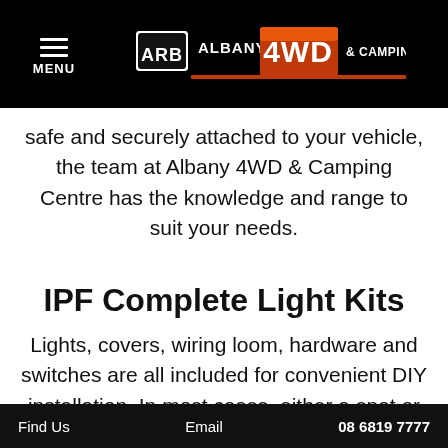MENU | ARB Albany 4WD & Camping Centre
safe and securely attached to your vehicle, the team at Albany 4WD & Camping Centre has the knowledge and range to suit your needs.
IPF Complete Light Kits
Lights, covers, wiring loom, hardware and switches are all included for convenient DIY installation. In most cases, either a spot or driving beam can be selected. The spot beam provides long, narrow light penetration whereas the driving beam gives
Find Us   Email   08 6819 7777